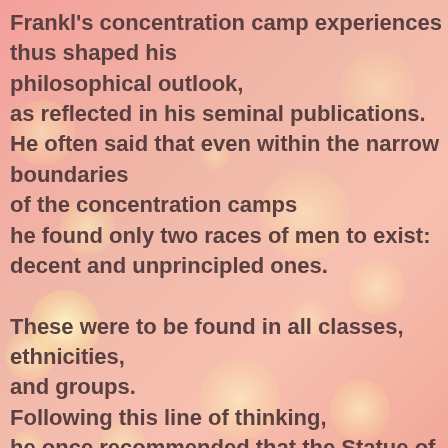Frankl's concentration camp experiences thus shaped his philosophical outlook, as reflected in his seminal publications. He often said that even within the narrow boundaries of the concentration camps he found only two races of men to exist: decent and unprincipled ones.

These were to be found in all classes, ethnicities, and groups. Following this line of thinking, he once recommended that the Statue of Liberty on the East coast of the US be complemented by a Statue of Responsibility on the West coast, and there were reportedly plans to construct such a